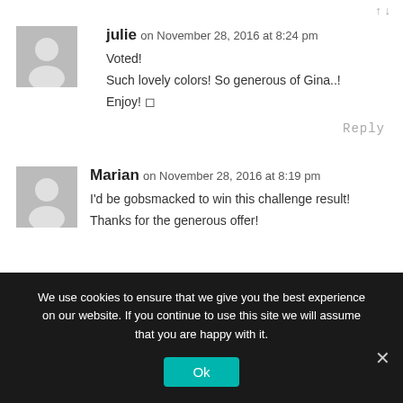julie on November 28, 2016 at 8:24 pm
Voted!
Such lovely colors! So generous of Gina..!
Enjoy! ◻
Reply
Marian on November 28, 2016 at 8:19 pm
I'd be gobsmacked to win this challenge result! Thanks for the generous offer!
We use cookies to ensure that we give you the best experience on our website. If you continue to use this site we will assume that you are happy with it.
Ok